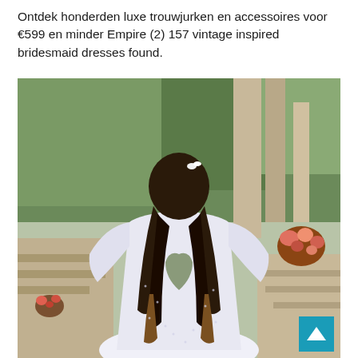Ontdek honderden luxe trouwjurken en accessoires voor €599 en minder Empire (2) 157 vintage inspired bridesmaid dresses found.
[Figure (photo): A woman in a white off-shoulder lace bridesmaid dress with an open back cutout, viewed from behind, standing on stone steps in an outdoor garden setting with greenery, stone columns and floral arrangements.]